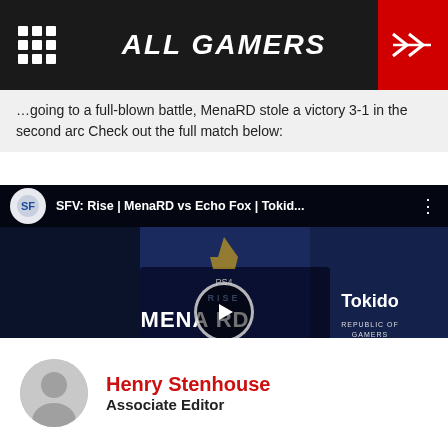ALL GAMERS
victory 3-1 in the second arc Check out the full match below:
[Figure (screenshot): YouTube video thumbnail showing Street Fighter V match: SFV: Rise | MenaRD vs Echo Fox | Tokid... with play button overlay. Two players shown: MenaRD on left, Tokido on right wearing ECHO FOX jersey. Text overlay shows MENARD vs ECHO FOX TOKIDO.]
Henry Stenhouse
Associate Editor